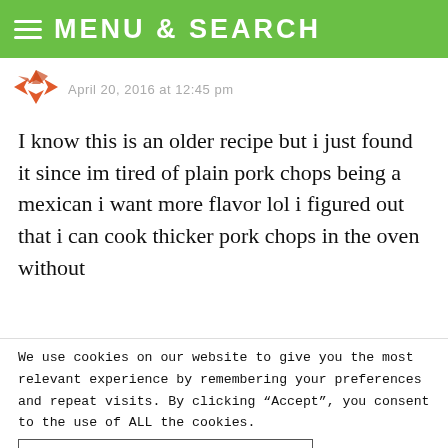MENU & SEARCH
April 20, 2016 at 12:45 pm
I know this is an older recipe but i just found it since im tired of plain pork chops being a mexican i want more flavor lol i figured out that i can cook thicker pork chops in the oven without
We use cookies on our website to give you the most relevant experience by remembering your preferences and repeat visits. By clicking “Accept”, you consent to the use of ALL the cookies.
Do not sell my personal information
[Figure (screenshot): Sephora advertisement banner with 'Try Something Good' yellow button on dark background]